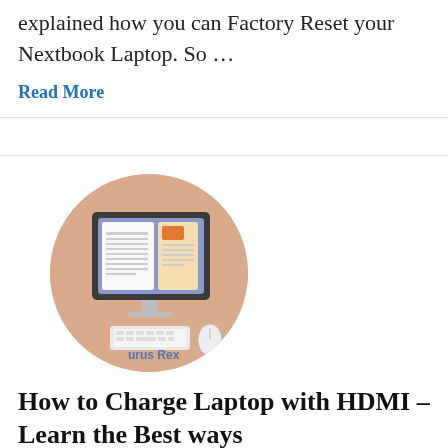explained how you can Factory Reset your Nextbook Laptop. So …
Read More
[Figure (illustration): Circular illustration showing a desktop computer monitor displaying documents, with a keyboard and mouse, on a tan/beige background. Text 'urus Rex' visible at bottom.]
How to Charge Laptop with HDMI – Learn the Best ways
This article covers all the methods you need to know to charge your Laptop with HDMI. So